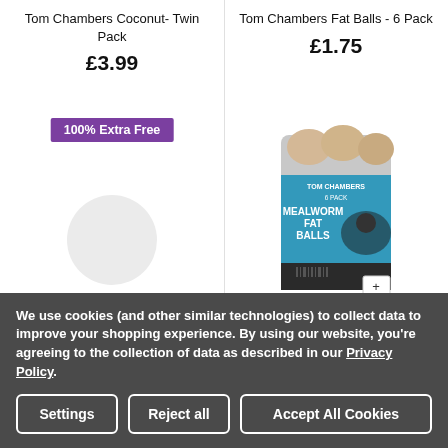Tom Chambers Coconut- Twin Pack
Tom Chambers Fat Balls - 6 Pack
£3.99
£1.75
100% Extra Free
[Figure (photo): Coconut bird feeder product - partial view of coconut half shaped feeder]
[Figure (photo): Tom Chambers 6 Pack Mealworm Fat Balls product packaging with blue label and bird image]
We use cookies (and other similar technologies) to collect data to improve your shopping experience. By using our website, you're agreeing to the collection of data as described in our Privacy Policy.
Settings
Reject all
Accept All Cookies